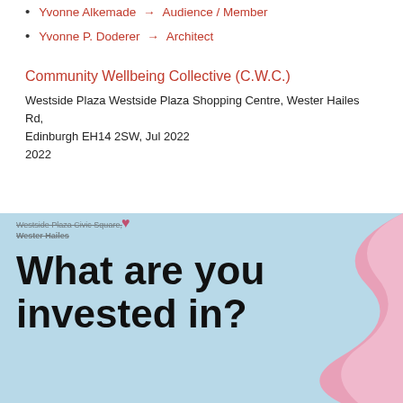Yvonne Alkemade → Audience / Member
Yvonne P. Doderer → Architect
Community Wellbeing Collective (C.W.C.)
Westside Plaza Westside Plaza Shopping Centre, Wester Hailes Rd, Edinburgh EH14 2SW, Jul 2022
2022
[Figure (photo): Promotional image with light blue background and pink wavy shape on the right. Bold text reads 'What are you invested in?' Small text at top left reads 'Westside Plaza Civic Square, Wester Hailes' with a heart icon.]